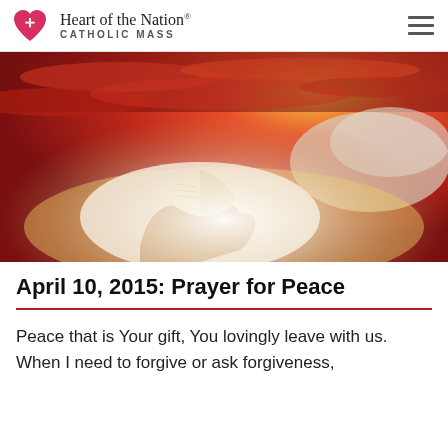Heart of the Nation. CATHOLIC MASS
[Figure (photo): Hands holding open a book against a dramatic sunset sky with vivid red, orange and golden clouds]
April 10, 2015: Prayer for Peace
Peace that is Your gift, You lovingly leave with us. When I need to forgive or ask forgiveness,